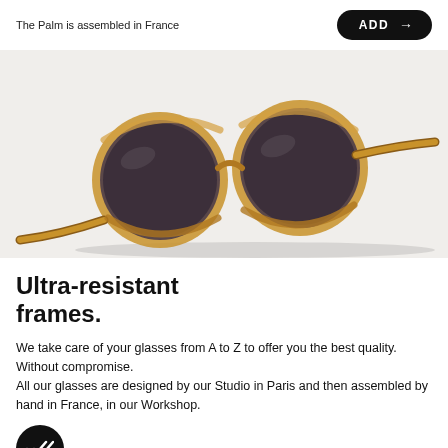The Palm is assembled in France
[Figure (photo): Pair of round tortoiseshell sunglasses with amber/honey frames and dark lenses, photographed on a white background with subtle shadow.]
Ultra-resistant frames.
We take care of your glasses from A to Z to offer you the best quality. Without compromise.
All our glasses are designed by our Studio in Paris and then assembled by hand in France, in our Workshop.